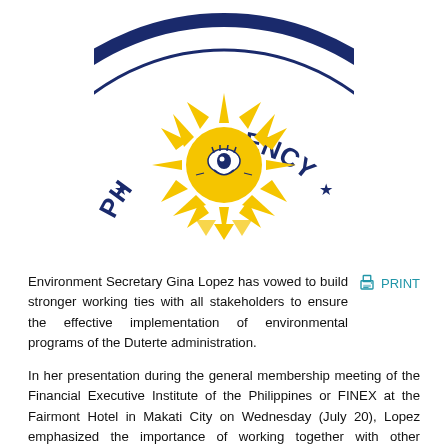[Figure (logo): Philippine government seal (partial, top half visible) — circular seal with navy blue border, gold sun with face in center, text 'PH' on left arc and 'RENCY' on right arc, 'SEAL' at bottom arc (inverted/upside down view), stars on border]
Environment Secretary Gina Lopez has vowed to build stronger working ties with all stakeholders to ensure the effective implementation of environmental programs of the Duterte administration.
PRINT
In her presentation during the general membership meeting of the Financial Executive Institute of the Philippines or FINEX at the Fairmont Hotel in Makati City on Wednesday (July 20), Lopez emphasized the importance of working together with other government agencies, the private sector and the civil society in implementing the programs of the Department of Environment and Natural Resources (DENR).
To increase the impact of environmental programs at less cost, Lopez said she will work towards institutionalizing the participation of the civil society organizations to become government bodies.